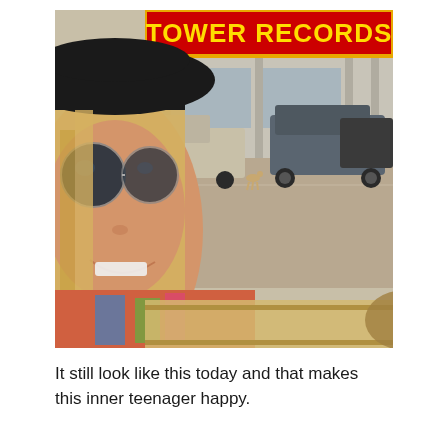[Figure (photo): A woman with long blonde hair, wearing large round sunglasses and a black hat, takes a selfie in front of a Tower Records store. The store sign in red and yellow reads 'TOWER RECORDS'. There are cars parked in the lot and a small dog visible in the background.]
It still look like this today and that makes this inner teenager happy.